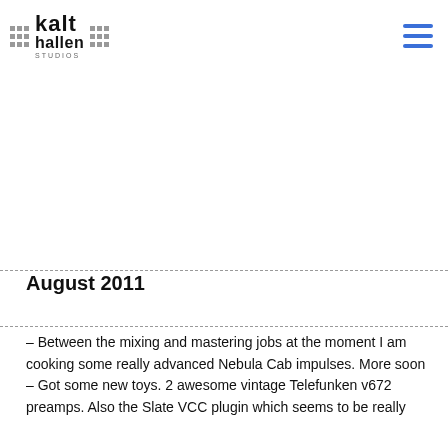kalt hallen STUDIOS
August 2011
– Between the mixing and mastering jobs at the moment I am cooking some really advanced Nebula Cab impulses. More soon
– Got some new toys. 2 awesome vintage Telefunken v672 preamps. Also the Slate VCC plugin which seems to be really